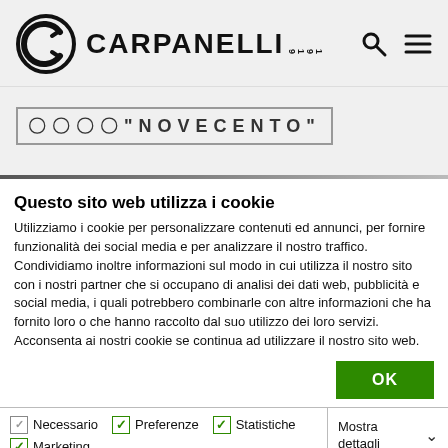[Figure (logo): Carpanelli 1919 logo with stylized C symbol and brand name]
"NOVECENTO"
Questo sito web utilizza i cookie
Utilizziamo i cookie per personalizzare contenuti ed annunci, per fornire funzionalità dei social media e per analizzare il nostro traffico. Condividiamo inoltre informazioni sul modo in cui utilizza il nostro sito con i nostri partner che si occupano di analisi dei dati web, pubblicità e social media, i quali potrebbero combinarle con altre informazioni che ha fornito loro o che hanno raccolto dal suo utilizzo dei loro servizi. Acconsenta ai nostri cookie se continua ad utilizzare il nostro sito web.
OK
Necessario  Preferenze  Statistiche  Marketing  Mostra dettagli